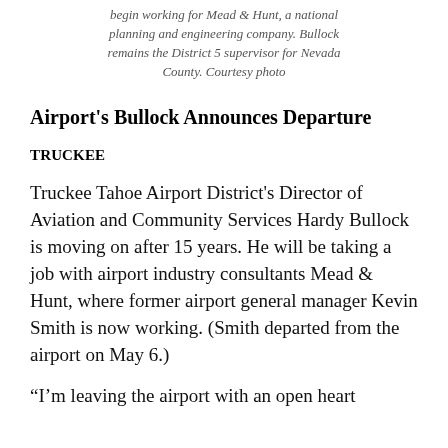begin working for Mead & Hunt, a national planning and engineering company. Bullock remains the District 5 supervisor for Nevada County. Courtesy photo
Airport's Bullock Announces Departure
TRUCKEE
Truckee Tahoe Airport District's Director of Aviation and Community Services Hardy Bullock is moving on after 15 years. He will be taking a job with airport industry consultants Mead & Hunt, where former airport general manager Kevin Smith is now working. (Smith departed from the airport on May 6.)
“I’m leaving the airport with an open heart